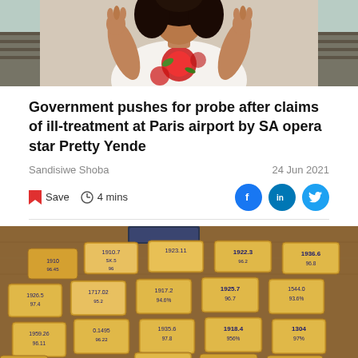[Figure (photo): Photo of a woman with curly hair wearing a white dress with red floral print, hands raised, photographed from chest up against a light background]
Government pushes for probe after claims of ill-treatment at Paris airport by SA opera star Pretty Yende
Sandisiwe Shoba  24 Jun 2021
Save  4 mins
[Figure (photo): Photo of multiple gold bars laid out on a wooden surface with handwritten numbers and percentages on them, showing values like 1922.3, 1936.6, 1925.7, 1304, 1930.9 and various purity percentages]